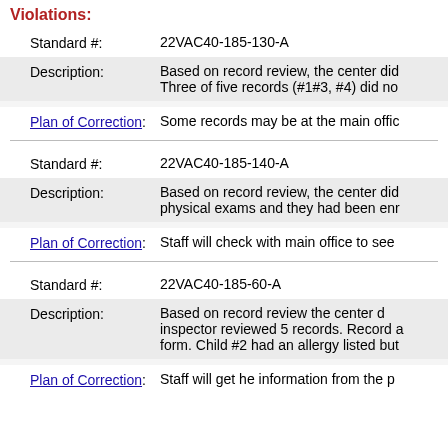Violations:
| Field | Value |
| --- | --- |
| Standard #: | 22VAC40-185-130-A |
| Description: | Based on record review, the center did... Three of five records (#1#3, #4) did no... |
| Plan of Correction: | Some records may be at the main offic... |
| Standard #: | 22VAC40-185-140-A |
| Description: | Based on record review, the center did... physical exams and they had been enro... |
| Plan of Correction: | Staff will check with main office to see... |
| Standard #: | 22VAC40-185-60-A |
| Description: | Based on record review the center... inspector reviewed 5 records. Record a... form. Child #2 had an allergy listed but... |
| Plan of Correction: | Staff will get he information from the p... |